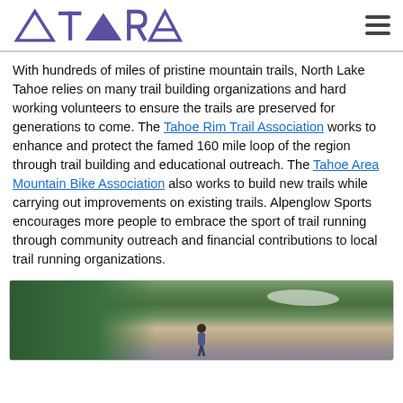American Trail Running Association
With hundreds of miles of pristine mountain trails, North Lake Tahoe relies on many trail building organizations and hard working volunteers to ensure the trails are preserved for generations to come. The Tahoe Rim Trail Association works to enhance and protect the famed 160 mile loop of the region through trail building and educational outreach. The Tahoe Area Mountain Bike Association also works to build new trails while carrying out improvements on existing trails. Alpenglow Sports encourages more people to embrace the sport of trail running through community outreach and financial contributions to local trail running organizations.
[Figure (photo): A trail runner on a mountain trail in North Lake Tahoe, with conifer trees and rocky snowy slopes in the background.]